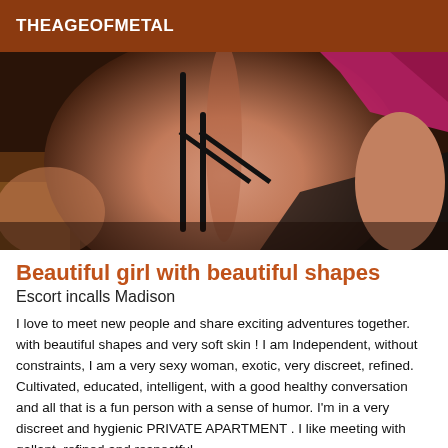THEAGEOFMETAL
[Figure (photo): Close-up photo of a woman's back wearing a black bra strap and pink/black lace fabric, skin visible, warm-toned background]
Beautiful girl with beautiful shapes
Escort incalls Madison
I love to meet new people and share exciting adventures together. with beautiful shapes and very soft skin ! I am Independent, without constraints, I am a very sexy woman, exotic, very discreet, refined. Cultivated, educated, intelligent, with a good healthy conversation and all that is a fun person with a sense of humor. I'm in a very discreet and hygienic PRIVATE APARTMENT . I like meeting with gallant, refined and respectful